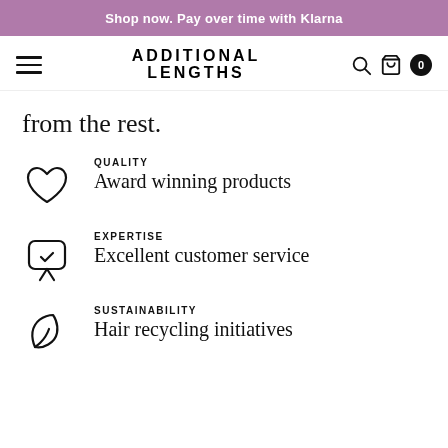Shop now. Pay over time with Klarna
[Figure (logo): Additional Lengths logo with hamburger menu, search, bag, and cart icons]
from the rest.
QUALITY — Award winning products
EXPERTISE — Excellent customer service
SUSTAINABILITY — Hair recycling initiatives